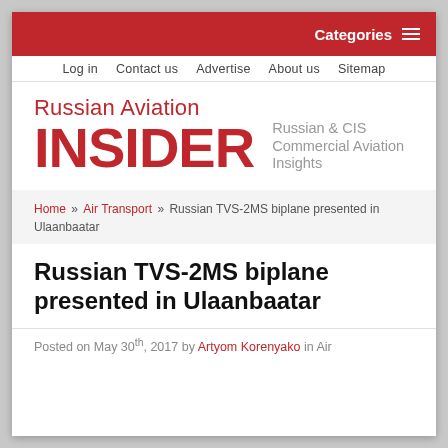Categories
Log in   Contact us   Advertise   About us   Sitemap
Russian Aviation INSIDER — Russian & CIS Commercial Aviation Insights
Home » Air Transport » Russian TVS-2MS biplane presented in Ulaanbaatar
Russian TVS-2MS biplane presented in Ulaanbaatar
Posted on May 30th, 2017 by Artyom Korenyako in Air